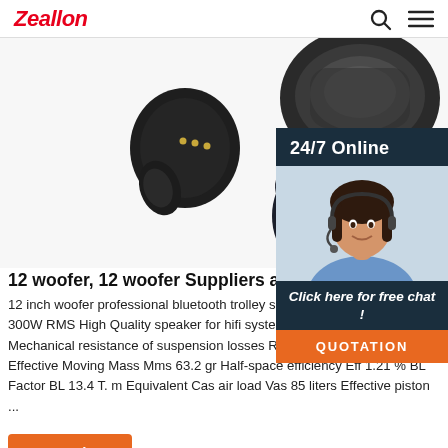Zeallon
[Figure (photo): Product photo of wireless earbuds (TWS earphones) shown from multiple angles against white background, with a charging case visible in the upper right]
[Figure (photo): 24/7 Online chat widget with female customer service agent wearing headset, with 'Click here for free chat!' text and orange QUOTATION button]
12 woofer, 12 woofer Suppliers and Manufacturers...
12 inch woofer professional bluetooth trolley speaker rechargeable ... 12' 300W RMS High Quality speaker for hifi system. ... Cms 0.19 mm/N Mechanical resistance of suspension losses Rms 3.18 mech-ohm Effective Moving Mass Mms 63.2 gr Half-space efficiency Eff 1.21 % BL Factor BL 13.4 T. m Equivalent Cas air load Vas 85 liters Effective piston ...
Get Price